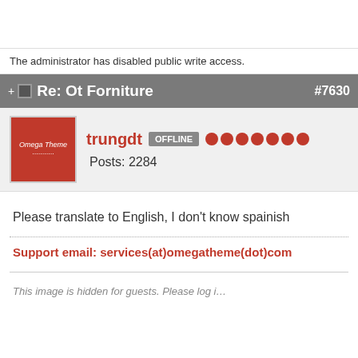The administrator has disabled public write access.
Re: Ot Forniture #7630
trungdt OFFLINE Posts: 2284
Please translate to English, I don't know spainish
Support email: services(at)omegatheme(dot)com
This image is hidden for guests. Please log i…
Send us a message